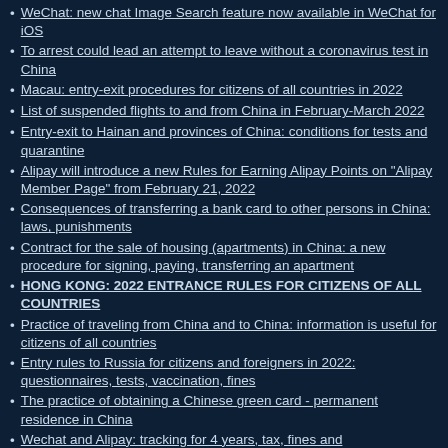WeChat: new chat Image Search feature now available in WeChat for iOS
To arrest could lead an attempt to leave without a coronavirus test in China
Macau: entry-exit procedures for citizens of all countries in 2022
List of suspended flights to and from China in February-March 2022
Entry-exit to Hainan and provinces of China: conditions for tests and quarantine
Alipay will introduce a new Rules for Earning Alipay Points on "Alipay Member Page" from February 21, 2022
Consequences of transferring a bank card to other persons in China: laws, punishments
Contract for the sale of housing (apartments) in China: a new procedure for signing, paying, transferring an apartment
HONG KONG: 2022 ENTRANCE RULES FOR CITIZENS OF ALL COUNTRIES
Practice of traveling from China and to China: information is useful for citizens of all countries
Entry rules to Russia for citizens and foreigners in 2022: questionnaires, tests, vaccination, fines
The practice of obtaining a Chinese green card - permanent residence in China
Wechat and Alipay: tracking for 4 years, tax, fines and…